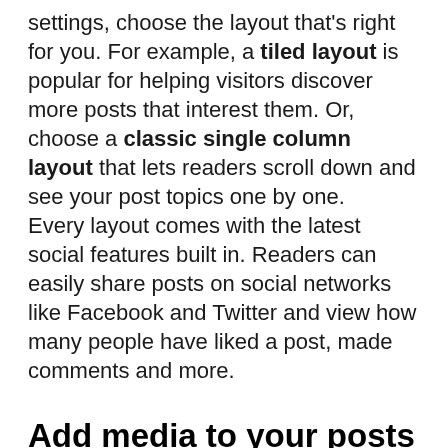settings, choose the layout that's right for you. For example, a tiled layout is popular for helping visitors discover more posts that interest them. Or, choose a classic single column layout that lets readers scroll down and see your post topics one by one.
Every layout comes with the latest social features built in. Readers can easily share posts on social networks like Facebook and Twitter and view how many people have liked a post, made comments and more.
Add media to your posts